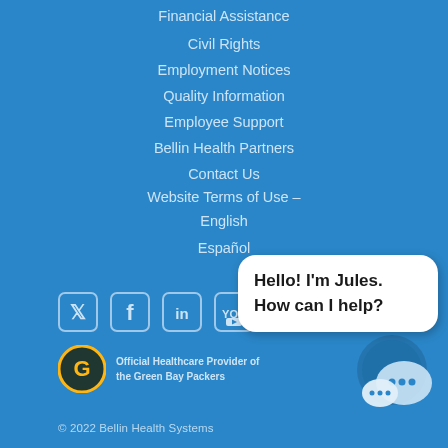Financial Assistance
Civil Rights
Employment Notices
Quality Information
Employee Support
Bellin Health Partners
Contact Us
Website Terms of Use – English
Español
[Figure (other): Social media icons for Twitter, Facebook, LinkedIn, YouTube on blue background]
[Figure (other): Chat widget with speech bubble saying Hello! I'm Jules. How can I help?]
[Figure (logo): Green Bay Packers logo with text: Official Healthcare Provider of the Green Bay Packers]
© 2022 Bellin Health Systems